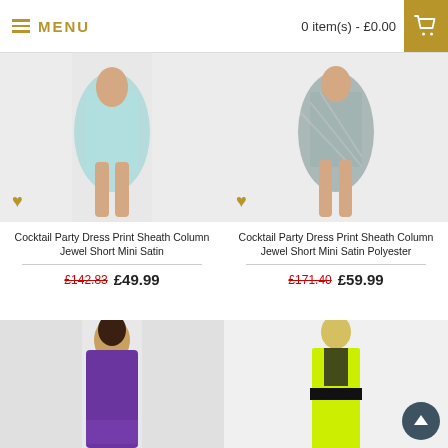MENU | 0 item(s) - £0.00
[Figure (photo): Model wearing a light blue/mint cocktail party dress, short mini, jewel neckline, satin fabric]
Cocktail Party Dress Print Sheath Column Jewel Short Mini Satin
£142.83  £49.99
[Figure (photo): Model wearing a grey patterned cocktail party dress, short mini, jewel neckline, satin polyester fabric]
Cocktail Party Dress Print Sheath Column Jewel Short Mini Satin Polyester
£171.40  £59.99
[Figure (photo): Model wearing a purple long column dress with sheer panel details]
[Figure (photo): Model wearing a yellow/neon and black colour block dress with sheer mesh panel]